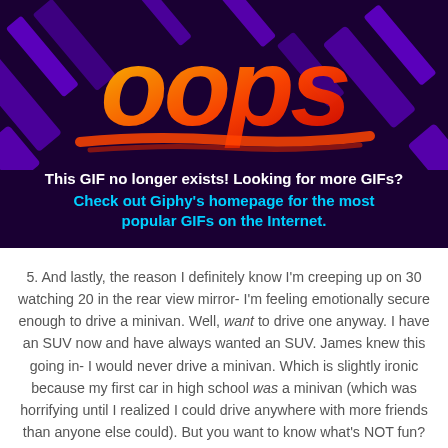[Figure (screenshot): Giphy error page showing 'oops' text in large orange/yellow graffiti letters on a dark purple background with diagonal stripe patterns. Below the graphic: 'This GIF no longer exists! Looking for more GIFs? Check out Giphy's homepage for the most popular GIFs on the Internet.' in white and cyan bold text.]
5. And lastly, the reason I definitely know I'm creeping up on 30 watching 20 in the rear view mirror- I'm feeling emotionally secure enough to drive a minivan. Well, want to drive one anyway. I have an SUV now and have always wanted an SUV. James knew this going in- I would never drive a minivan. Which is slightly ironic because my first car in high school was a minivan (which was horrifying until I realized I could drive anywhere with more friends than anyone else could). But you want to know what's NOT fun? Trying to squeeze a car seat into a tiny opened door space...